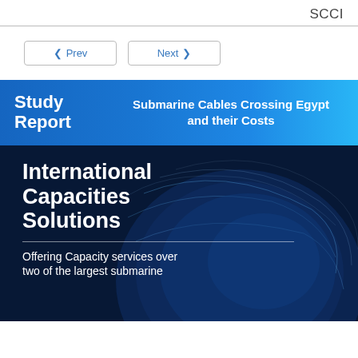SCCI
< Prev    Next >
Study Report  Submarine Cables Crossing Egypt and their Costs
[Figure (illustration): Dark navy background with globe/earth illustration showing network cables. Overlaid bold white text reading 'International Capacities Solutions' with a divider line and subtitle 'Offering Capacity services over two of the largest submarine']